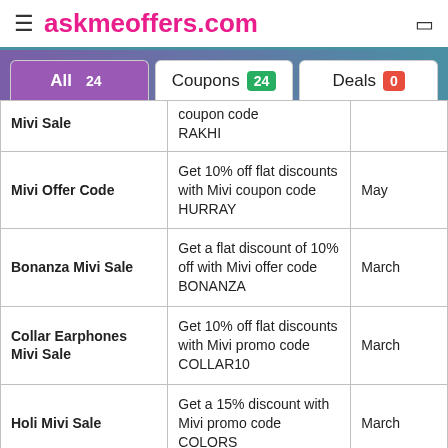askmeoffers.com
|  | Description | Month |
| --- | --- | --- |
| Mivi Sale | coupon code RAKHI |  |
| Mivi Offer Code | Get 10% off flat discounts with Mivi coupon code HURRAY | May |
| Bonanza Mivi Sale | Get a flat discount of 10% off with Mivi offer code BONANZA | March |
| Collar Earphones Mivi Sale | Get 10% off flat discounts with Mivi promo code COLLAR10 | March |
| Holi Mivi Sale | Get a 15% discount with Mivi promo code COLORS | March |